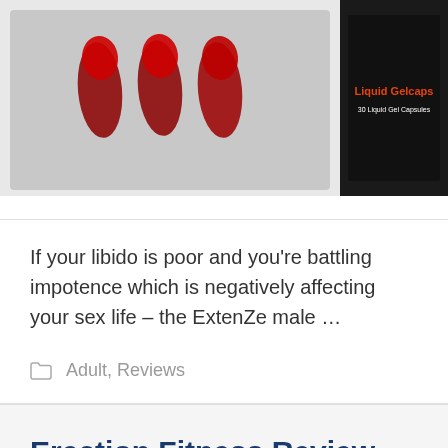[Figure (photo): Product photo showing blister pack of red and black capsules on the left, and a black product box labeled 'Liquid Gelcaps - 30 Liquid Gel Capsules' on the right with red and white text.]
If your libido is poor and you're battling impotence which is negatively affecting your sex life – the ExtenZe male …
Adult, Reviews
Erection Fitness Review – Best Penis Enlargement Method